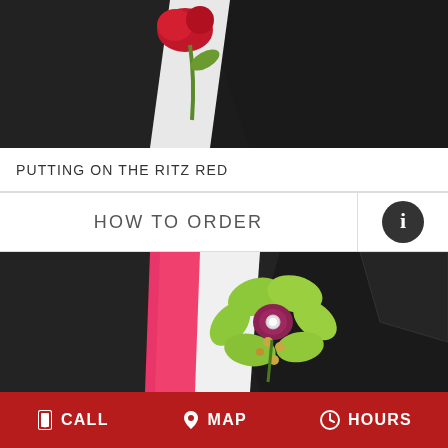[Figure (photo): Close-up photo of a boutonniere with red flower against a dark suit jacket lapel, partially visible at top of page]
PUTTING ON THE RITZ RED
HOW TO ORDER
[Figure (photo): Close-up photo of a green cymbidium orchid boutonniere with pearl and rhinestone accents on a dark suit lapel with a pink tie visible in background]
CALL   MAP   HOURS